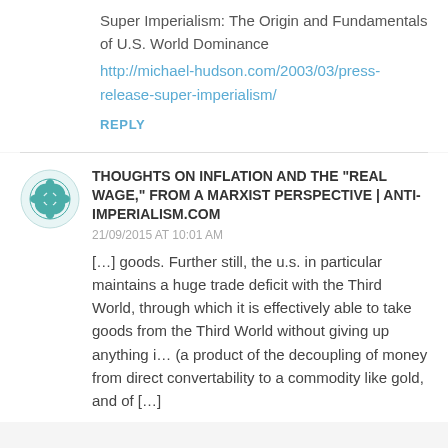Super Imperialism: The Origin and Fundamentals of U.S. World Dominance
http://michael-hudson.com/2003/03/press-release-super-imperialism/
REPLY
THOUGHTS ON INFLATION AND THE "REAL WAGE," FROM A MARXIST PERSPECTIVE | ANTI-IMPERIALISM.COM
21/09/2015 AT 10:01 AM
[…] goods. Further still, the u.s. in particular maintains a huge trade deficit with the Third World, through which it is effectively able to take goods from the Third World without giving up anything i… (a product of the decoupling of money from direct convertability to a commodity like gold, and of […]